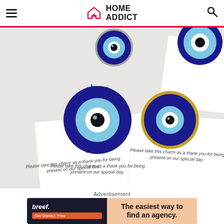HOME ADDICT
[Figure (photo): Evil eye charm pendants on white gift cards with text 'Please take this charm as a thank you for being present on our special day.' Multiple blue glass evil eye amulets with gold and silver bezels arranged on white cards with decorative leaf illustrations.]
Advertisement
[Figure (infographic): Advertisement banner for breef. showing 'The easiest way to find an agency.' with Get Started Free button on dark background, and a person image on right side.]